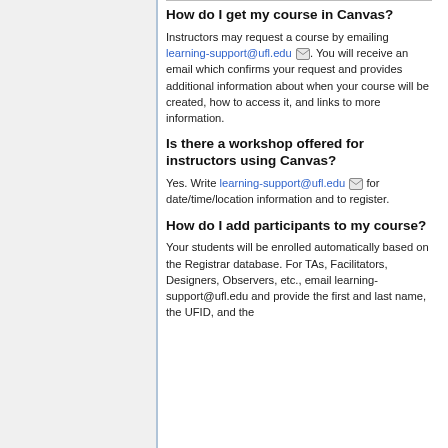How do I get my course in Canvas?
Instructors may request a course by emailing learning-support@ufl.edu. You will receive an email which confirms your request and provides additional information about when your course will be created, how to access it, and links to more information.
Is there a workshop offered for instructors using Canvas?
Yes. Write learning-support@ufl.edu for date/time/location information and to register.
How do I add participants to my course?
Your students will be enrolled automatically based on the Registrar database. For TAs, Facilitators, Designers, Observers, etc., email learning-support@ufl.edu and provide the first and last name, the UFID, and the